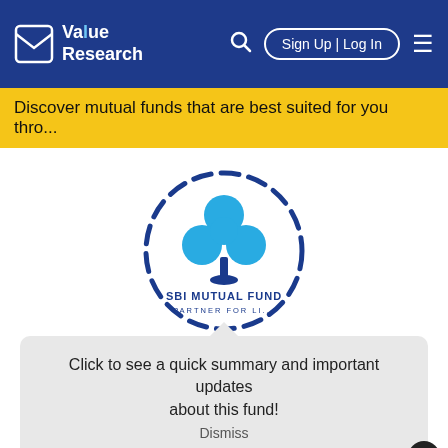Value Research | Sign Up | Log In
Discover mutual funds that are best suited for you thro...
[Figure (logo): SBI Mutual Fund logo — blue dashed circle enclosing the SBI blue clover/key symbol with text SBI MUTUAL FUND PARTNER FOR LIFE]
Click to see a quick summary and important updates about this fund!
Dismiss
[Figure (advertisement): Orange advertisement banner reading: Strike A Balance Between ATTACK & DEFENCE]
Hybr...
SBI ...nd